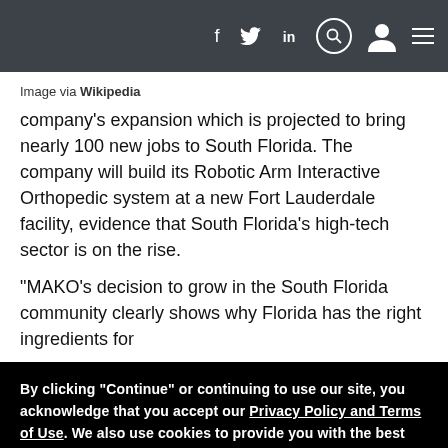f  [twitter]  in  [search]  [user]  [menu]
Image via Wikipedia
company’s expansion which is projected to bring nearly 100 new jobs to South Florida. The company will build its Robotic Arm Interactive Orthopedic system at a new Fort Lauderdale facility, evidence that South Florida’s high-tech sector is on the rise.
“MAKO’s decision to grow in the South Florida community clearly shows why Florida has the right ingredients for
By clicking "Continue" or continuing to use our site, you acknowledge that you accept our Privacy Policy and Terms of Use. We also use cookies to provide you with the best possible experience on our website. Feel free to check out our policies anytime for more information.
Continue